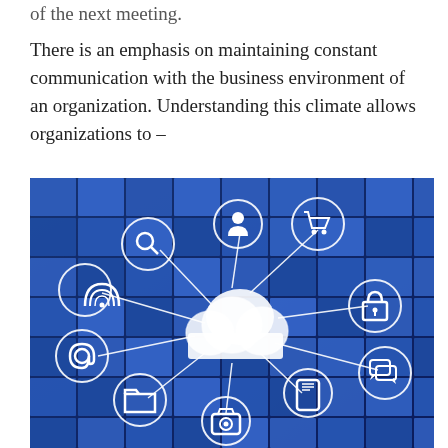of the next meeting.
There is an emphasis on maintaining constant communication with the business environment of an organization. Understanding this climate allows organizations to –
[Figure (illustration): A 3D illustration of a cloud computing concept on a blue block background. A central white cloud shape is connected by lines to eight circular icons: WiFi/signal, magnifying glass (search), person (user), shopping cart, padlock (security), chat bubbles (messaging), mobile phone, camera, folder, and email (@). The image represents cloud-based digital services.]